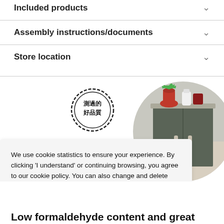Included products
Assembly instructions/documents
Store location
[Figure (infographic): Circular image of a cabinet/furniture piece with red and white pots/plants on top, and a quality badge stamp with Chinese text '測過的好品質']
We use cookie statistics to ensure your experience. By clicking 'I understand' or continuing browsing, you agree to our cookie policy. You can also change and delete cookies at any time. Click here to read more.
I understand
Low formaldehyde content and great